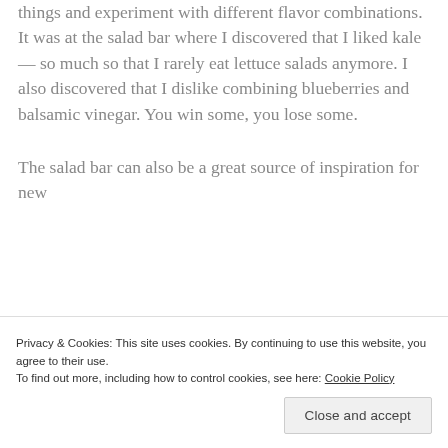things and experiment with different flavor combinations.  It was at the salad bar where I discovered that I liked kale — so much so that I rarely eat lettuce salads anymore. I also discovered that I dislike combining blueberries and balsamic vinegar. You win some, you lose some.
The salad bar can also be a great source of inspiration for new
Privacy & Cookies: This site uses cookies. By continuing to use this website, you agree to their use.
To find out more, including how to control cookies, see here: Cookie Policy